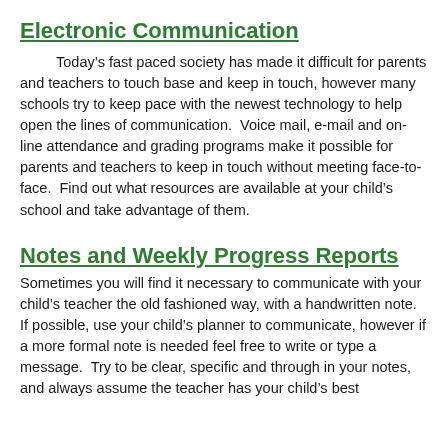Electronic Communication
Today’s fast paced society has made it difficult for parents and teachers to touch base and keep in touch, however many schools try to keep pace with the newest technology to help open the lines of communication.  Voice mail, e-mail and on-line attendance and grading programs make it possible for parents and teachers to keep in touch without meeting face-to-face.  Find out what resources are available at your child’s school and take advantage of them.
Notes and Weekly Progress Reports
Sometimes you will find it necessary to communicate with your child’s teacher the old fashioned way, with a handwritten note.  If possible, use your child’s planner to communicate, however if a more formal note is needed feel free to write or type a message.  Try to be clear, specific and through in your notes, and always assume the teacher has your child’s best